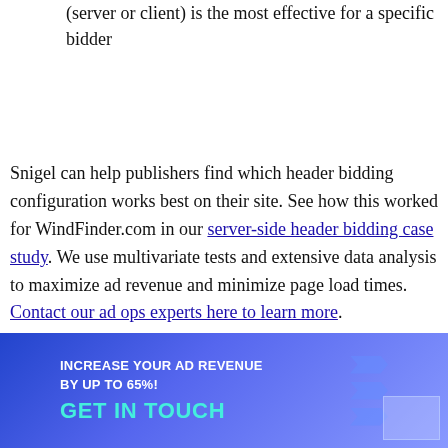(server or client) is the most effective for a specific bidder
Snigel can help publishers find which header bidding configuration works best on their site. See how this worked for WindFinder.com in our server-side header bidding case study. We use multivariate tests and extensive data analysis to maximize ad revenue and minimize page load times. Contact our ad ops experts here to learn more.
[Figure (infographic): Blue gradient banner with text 'INCREASE YOUR AD REVENUE BY UP TO 65%!' and 'GET IN TOUCH' call to action in teal, with arrow graphic elements on the right]